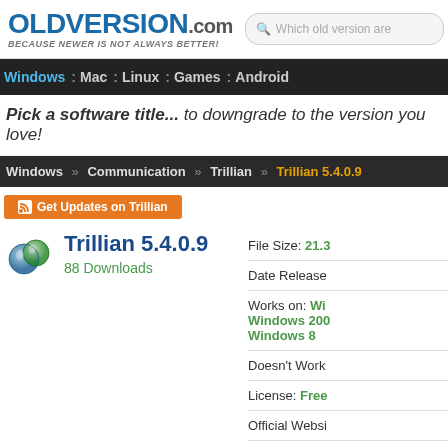OLDVERSION.com — BECAUSE NEWER IS NOT ALWAYS BETTER!
Windows : Mac : Linux : Games : Android
Pick a software title... to downgrade to the version you love!
Windows » Communication » Trillian » Trillian 5.4.0.9
Get Updates on Trillian
Trillian 5.4.0.9
88 Downloads
File Size: 21.3
Date Release
Works on: Windows 200 Windows 8
Doesn't Work
License: Free
Official Websi
Company: Ce
Total Downlo